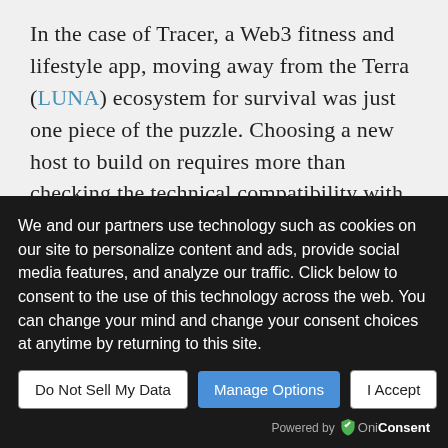In the case of Tracer, a Web3 fitness and lifestyle app, moving away from the Terra (LUNA) ecosystem for survival was just one piece of the puzzle. Choosing a new host to build on requires more than checking the technical compatibility with the blockchain ecosystems.
As explained by Near Foundation's (NEAR) Nicky Chalabi, projects like Tracer seek alignment with the ecosystem's core values that can support the company's roadmap in time to come. Tracer's decision to completely migrate
We and our partners use technology such as cookies on our site to personalize content and ads, provide social media features, and analyze our traffic. Click below to consent to the use of this technology across the web. You can change your mind and change your consent choices at anytime by returning to this site.